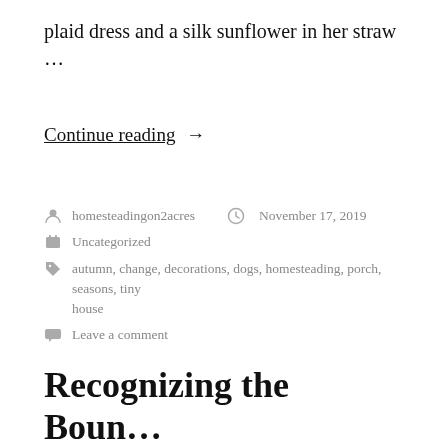plaid dress and a silk sunflower in her straw …
Continue reading →
homesteadingon2acres   November 17, 2019
Uncategorized
autumn, change, decorations, dogs, homesteading, porch, seasons, tiny house
Leave a comment
Recognizing the Boun…